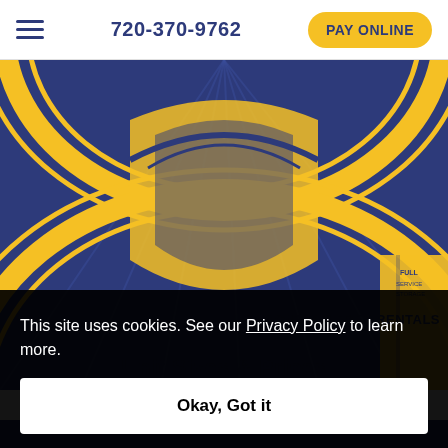720-370-9762  PAY ONLINE
[Figure (photo): Storage facility hero image with blue and yellow branding, large yellow circular arch design on blue background]
★ CONTACT FREE RENTALS
Unit Sizes & Prices
This site uses cookies. See our Privacy Policy to learn more.
Okay, Got it